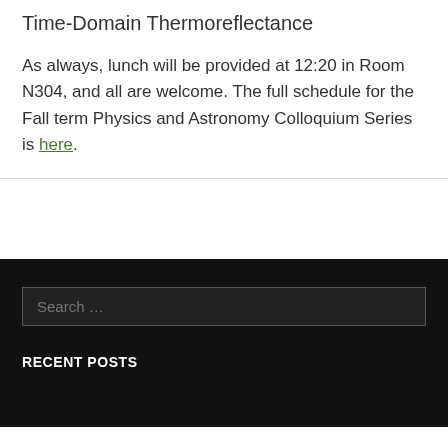Time-Domain Thermoreflectance
As always, lunch will be provided at 12:20 in Room N304, and all are welcome. The full schedule for the Fall term Physics and Astronomy Colloquium Series is here.
RECENT POSTS